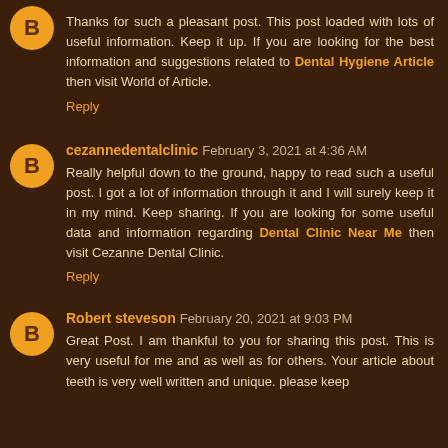Thanks for such a pleasant post. This post loaded with lots of useful information. Keep it up. If you are looking for the best information and suggestions related to Dental Hygiene Article then visit World of Article.
Reply
cezannedentalclinic February 3, 2021 at 4:36 AM
Really helpful down to the ground, happy to read such a useful post. I got a lot of information through it and I will surely keep it in my mind. Keep sharing. If you are looking for some useful data and information regarding Dental Clinic Near Me then visit Cezanne Dental Clinic.
Reply
Robert steveson February 20, 2021 at 9:03 PM
Great Post. I am thankful to you for sharing this post. This is very useful for me and as well as for others. Your article about teeth is very well written and unique. please keep